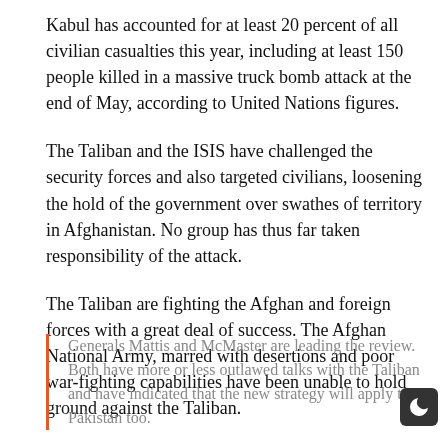Kabul has accounted for at least 20 percent of all civilian casualties this year, including at least 150 people killed in a massive truck bomb attack at the end of May, according to United Nations figures.
The Taliban and the ISIS have challenged the security forces and also targeted civilians, loosening the hold of the government over swathes of territory in Afghanistan. No group has thus far taken responsibility of the attack.
The Taliban are fighting the Afghan and foreign forces with a great deal of success. The Afghan National Army, marred with desertions and poor war-fighting capabilities have been unable to hold ground against the Taliban.
Generals Mattis and McMaster are leading the review. Both have more or less outlawed talks with the Taliban and have indicated that the new strategy will apply to Pakistan too.